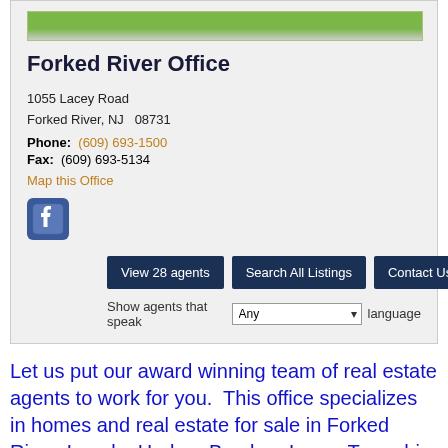Forked River Office
1055 Lacey Road
Forked River, NJ  08731
Phone: (609) 693-1500
Fax: (609) 693-5134
Map this Office
[Figure (logo): Facebook icon button]
View 28 agents | Search All Listings | Contact Us
Show agents that speak Any language
Let us put our award winning team of real estate agents to work for you.  This office specializes in homes and real estate for sale in Forked River, Lanoka Harbor, Bamber, Lacey Township, Whiting and Waretown.